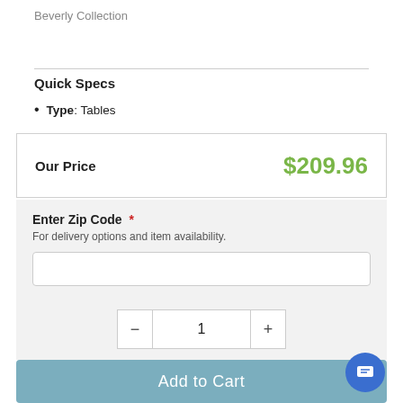Beverly Collection
Quick Specs
Type: Tables
Our Price   $209.96
Enter Zip Code *
For delivery options and item availability.
1
Add to Cart